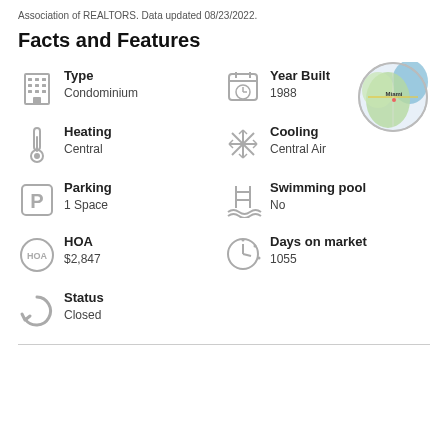Association of REALTORS. Data updated 08/23/2022.
Facts and Features
Type
Condominium
Year Built
1988
[Figure (map): Circular map thumbnail showing Miami area]
Heating
Central
Cooling
Central Air
Parking
1 Space
Swimming pool
No
HOA
$2,847
Days on market
1055
Status
Closed